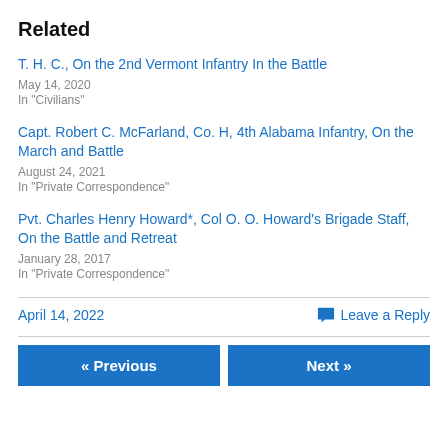Related
T. H. C., On the 2nd Vermont Infantry In the Battle
May 14, 2020
In "Civilians"
Capt. Robert C. McFarland, Co. H, 4th Alabama Infantry, On the March and Battle
August 24, 2021
In "Private Correspondence"
Pvt. Charles Henry Howard*, Col O. O. Howard's Brigade Staff, On the Battle and Retreat
January 28, 2017
In "Private Correspondence"
April 14, 2022    Leave a Reply
« Previous    Next »